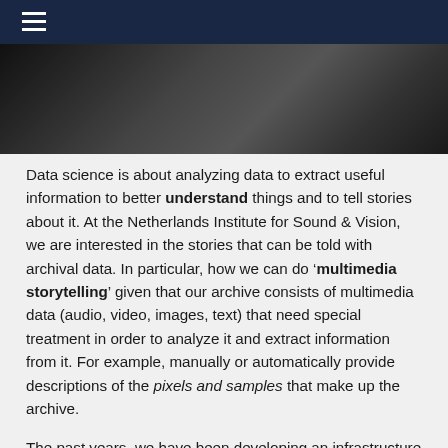☰
[Figure (photo): Partial view of a person or scene in dark/monochrome tones, cropped hero image at top of article]
Data science is about analyzing data to extract useful information to better understand things and to tell stories about it. At the Netherlands Institute for Sound & Vision, we are interested in the stories that can be told with archival data. In particular, how we can do 'multimedia storytelling' given that our archive consists of multimedia data (audio, video, images, text) that need special treatment in order to analyze it and extract information from it. For example, manually or automatically provide descriptions of the pixels and samples that make up the archive.
The past years, we have been developing an infrastructure specifically for the purpose of data research and data science. It has a friendly user interface that is called the Media Suite but we also provide the possibility for low-level (API) access to the data to enable what we sometimes call